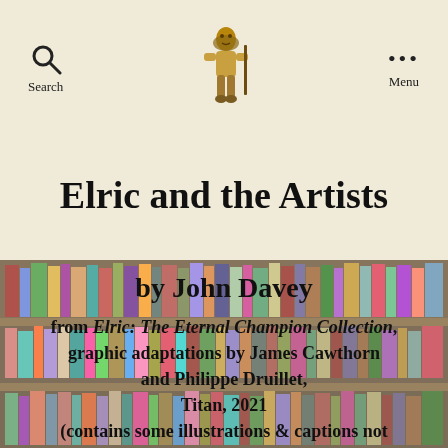Search  Menu
Elric and the Artists
[Figure (photo): Bookshelf background with books]
by John Davey
from Elric: The Eternal Champion Collection, graphic adaptations by James Cawthorn and Philippe Druillet, Titan, 2021 (contains some illustrations & captions not included in that volume)